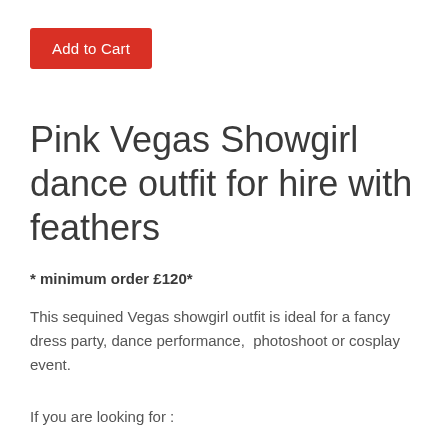Add to Cart
Pink Vegas Showgirl dance outfit for hire with feathers
* minimum order £120*
This sequined Vegas showgirl outfit is ideal for a fancy dress party, dance performance,  photoshoot or cosplay event.
If you are looking for :